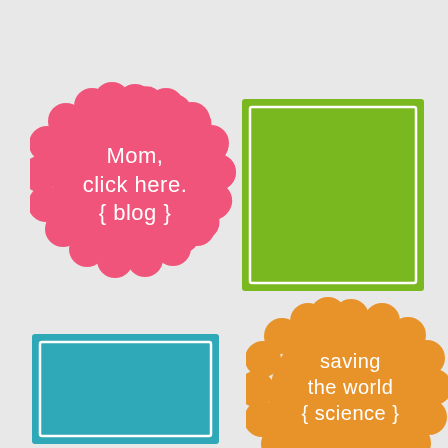[Figure (illustration): Pink scalloped circle badge with white text reading 'Mom, click here. { blog }']
[Figure (illustration): Green square badge with white border and white text reading 'history & geography']
[Figure (illustration): Teal/cyan square badge with white border and white text reading 'math &']
[Figure (illustration): Orange scalloped circle badge with white text reading 'saving the world { science }']